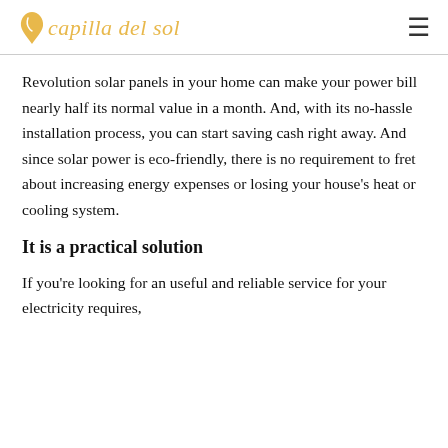capilla del sol
Revolution solar panels in your home can make your power bill nearly half its normal value in a month. And, with its no-hassle installation process, you can start saving cash right away. And since solar power is eco-friendly, there is no requirement to fret about increasing energy expenses or losing your house's heat or cooling system.
It is a practical solution
If you're looking for an useful and reliable service for your electricity requires,